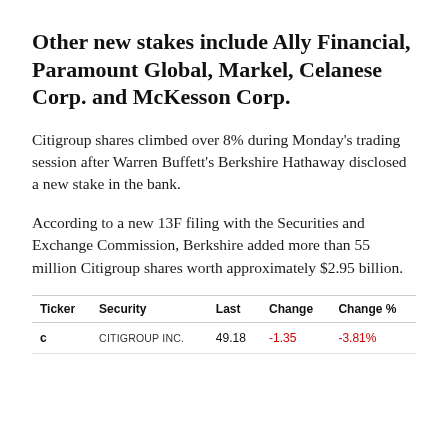Other new stakes include Ally Financial, Paramount Global, Markel, Celanese Corp. and McKesson Corp.
Citigroup shares climbed over 8% during Monday's trading session after Warren Buffett's Berkshire Hathaway disclosed a new stake in the bank.
According to a new 13F filing with the Securities and Exchange Commission, Berkshire added more than 55 million Citigroup shares worth approximately $2.95 billion.
| Ticker | Security | Last | Change | Change % |
| --- | --- | --- | --- | --- |
| C | CITIGROUP INC. | 49.18 | -1.35 | -3.81% |